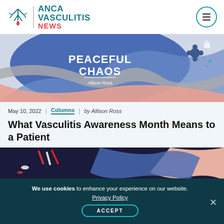[Figure (logo): ANCA Vasculitis News logo with teal text and red NEWS, with stylized figure icon]
[Figure (illustration): Colorful abstract illustration banner reading PEACEFUL CHAOS by Allison Ross, with blue, pink, and gray shapes]
May 10, 2022 | Columns | by Allison Ross
What Vasculitis Awareness Month Means to a Patient
[Figure (illustration): Partial colorful abstract illustration with dark navy, red, pink and blue shapes]
We use cookies to enhance your experience on our website. Privacy Policy ACCEPT